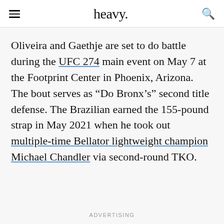heavy.
Oliveira and Gaethje are set to do battle during the UFC 274 main event on May 7 at the Footprint Center in Phoenix, Arizona. The bout serves as “Do Bronx’s” second title defense. The Brazilian earned the 155-pound strap in May 2021 when he took out multiple-time Bellator lightweight champion Michael Chandler via second-round TKO.
ADVERTISING